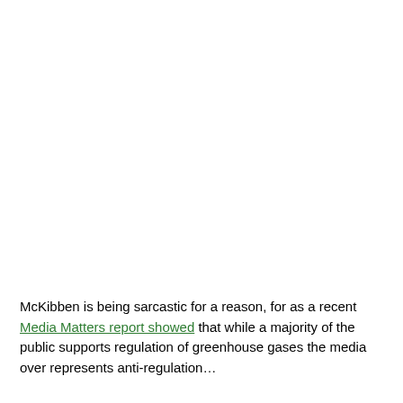McKibben is being sarcastic for a reason, for as a recent Media Matters report showed that while a majority of the public supports regulation of greenhouse gases the media over represents anti-regulation...